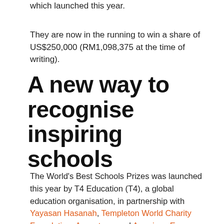which launched this year.
They are now in the running to win a share of US$250,000 (RM1,098,375 at the time of writing).
A new way to recognise inspiring schools
The World's Best Schools Prizes was launched this year by T4 Education (T4), a global education organisation, in partnership with Yayasan Hasanah, Templeton World Charity Foundation, Accenture, and American Express.